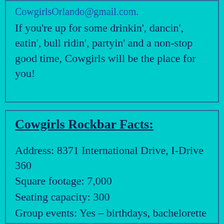CowgirlsOrlando@gmail.com.
If you're up for some drinkin', dancin', eatin', bull ridin', partyin' and a non-stop good time, Cowgirls will be the place for you!
Cowgirls Rockbar Facts:
Address: 8371 International Drive, I-Drive 360
Square footage: 7,000
Seating capacity: 300
Group events: Yes – birthdays, bachelorette parties, corporate events